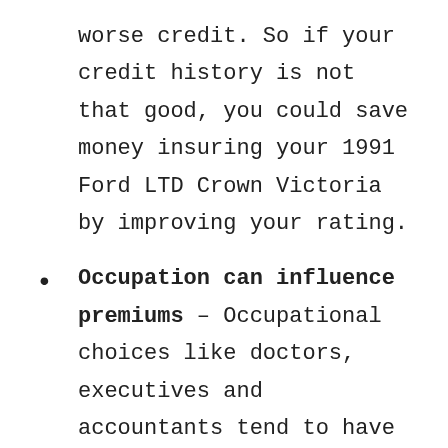worse credit. So if your credit history is not that good, you could save money insuring your 1991 Ford LTD Crown Victoria by improving your rating.
Occupation can influence premiums – Occupational choices like doctors, executives and accountants tend to have the highest rates because of intense work situations and lots of time spent at work. On the other hand, professions such as professors,